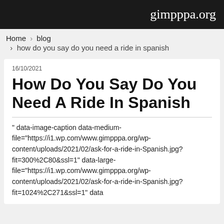gimpppa.org
Home › blog › how do you say do you need a ride in spanish
16/10/2021
How Do You Say Do You Need A Ride In Spanish
" data-image-caption data-medium-file="https://i1.wp.com/www.gimpppa.org/wp-content/uploads/2021/02/ask-for-a-ride-in-Spanish.jpg?fit=300%2C80&ssl=1" data-large-file="https://i1.wp.com/www.gimpppa.org/wp-content/uploads/2021/02/ask-for-a-ride-in-Spanish.jpg?fit=1024%2C271&ssl=1" data